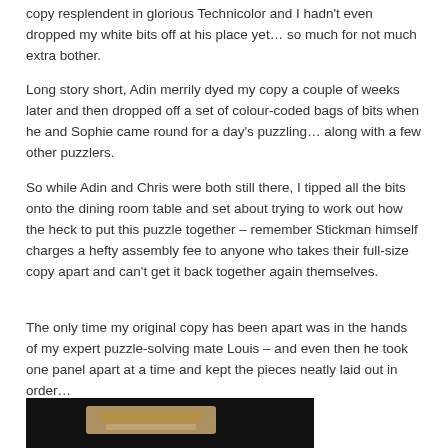copy resplendent in glorious Technicolor and I hadn't even dropped my white bits off at his place yet… so much for not much extra bother.
Long story short, Adin merrily dyed my copy a couple of weeks later and then dropped off a set of colour-coded bags of bits when he and Sophie came round for a day's puzzling… along with a few other puzzlers.
So while Adin and Chris were both still there, I tipped all the bits onto the dining room table and set about trying to work out how the heck to put this puzzle together – remember Stickman himself charges a hefty assembly fee to anyone who takes their full-size copy apart and can't get it back together again themselves.
The only time my original copy has been apart was in the hands of my expert puzzle-solving mate Louis – and even then he took one panel apart at a time and kept the pieces neatly laid out in order…
[Figure (photo): A wooden puzzle piece or panel photographed against a black background, showing light-colored wood components.]